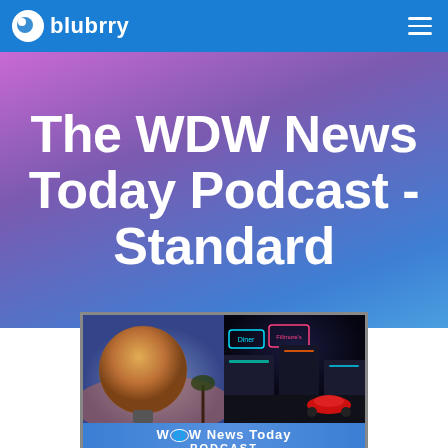blubrry
The WDW News Today Podcast - Standard
[Figure (screenshot): WDW News Today Podcast album art showing Spaceship Earth (EPCOT) on the left and a nighttime Cars Land scene on the right, with the WDW News Today Podcast logo bar at the bottom]